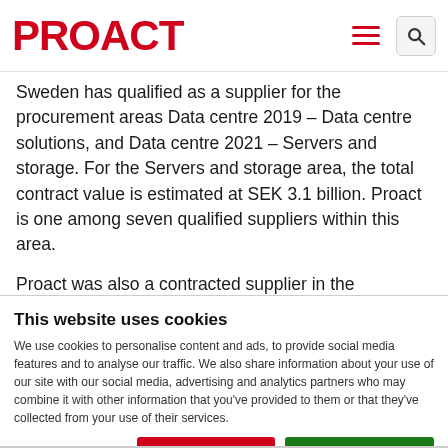PROACT
Sweden has qualified as a supplier for the procurement areas Data centre 2019 – Data centre solutions, and Data centre 2021 – Servers and storage. For the Servers and storage area, the total contract value is estimated at SEK 3.1 billion. Proact is one among seven qualified suppliers within this area.
Proact was also a contracted supplier in the
This website uses cookies
We use cookies to personalise content and ads, to provide social media features and to analyse our traffic. We also share information about your use of our site with our social media, advertising and analytics partners who may combine it with other information that you've provided to them or that they've collected from your use of their services.